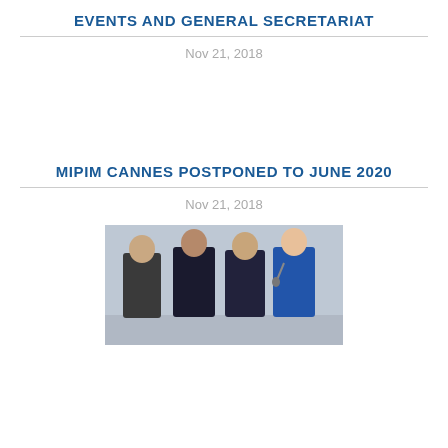EVENTS AND GENERAL SECRETARIAT
Nov 21, 2018
MIPIM CANNES POSTPONED TO JUNE 2020
Nov 21, 2018
[Figure (photo): Four people standing on a stage, three men in dark suits and one woman in a blue blazer holding a microphone]